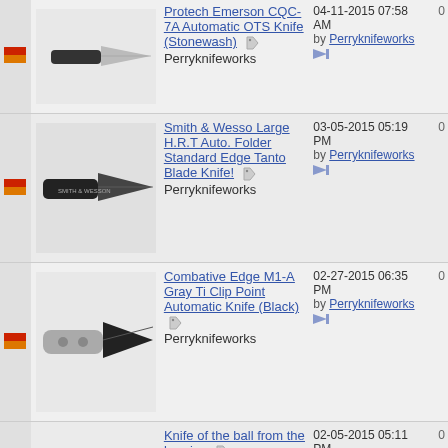[Figure (photo): Photo of Protech Emerson CQC-7A Automatic OTS Knife (Stonewash) - a folding knife with black handle]
Protech Emerson CQC-7A Automatic OTS Knife (Stonewash)
Perryknifeworks
04-11-2015 07:58 AM by Perryknifeworks
[Figure (photo): Photo of Smith & Wesso Large H.R.T Auto. Folder Standard Edge Tanto Blade Knife - black tactical folding knife]
Smith & Wesso Large H.R.T Auto. Folder Standard Edge Tanto Blade Knife!
Perryknifeworks
03-05-2015 05:19 PM by Perryknifeworks
[Figure (photo): Photo of Combative Edge M1-A Gray Ti Clip Point Automatic Knife (Black) - gray and black folding knife]
Combative Edge M1-A Gray Ti Clip Point Automatic Knife (Black)
Perryknifeworks
02-27-2015 06:35 PM by Perryknifeworks
Knife of the ball from the bearing
NazarZhuravel
02-05-2015 05:11 PM by NazarZhuravel
Rainy